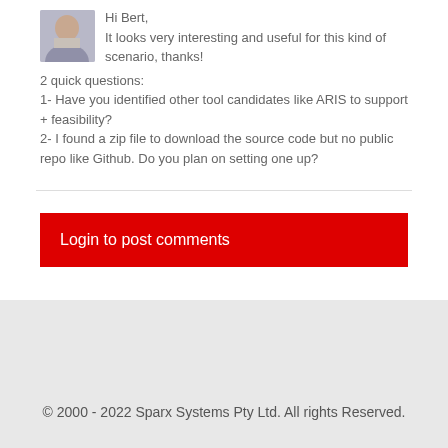[Figure (photo): User avatar photo showing a person in a light-colored shirt]
Hi Bert,
It looks very interesting and useful for this kind of scenario, thanks!
2 quick questions:
1- Have you identified other tool candidates like ARIS to support + feasibility?
2- I found a zip file to download the source code but no public repo like Github. Do you plan on setting one up?
Login to post comments
back to top
© 2000 - 2022 Sparx Systems Pty Ltd. All rights Reserved.